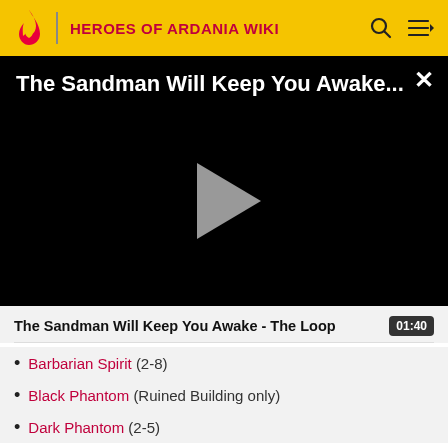HEROES OF ARDANIA WIKI
[Figure (screenshot): Video player showing 'The Sandman Will Keep You Awake...' with a play button on a black background and a close (X) button in the top right]
The Sandman Will Keep You Awake - The Loop  01:40
Barbarian Spirit (2-8)
Black Phantom (Ruined Building only)
Dark Phantom (2-5)